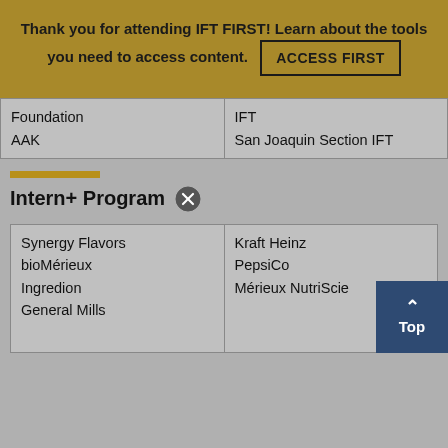Thank you for attending IFT FIRST! Learn about the tools you need to access content. ACCESS FIRST
| Foundation
AAK | IFT
San Joaquin Section IFT |
Intern+ Program
| Synergy Flavors
bioMérieux
Ingredion
General Mills | Kraft Heinz
PepsiCo
Mérieux NutriSciences |